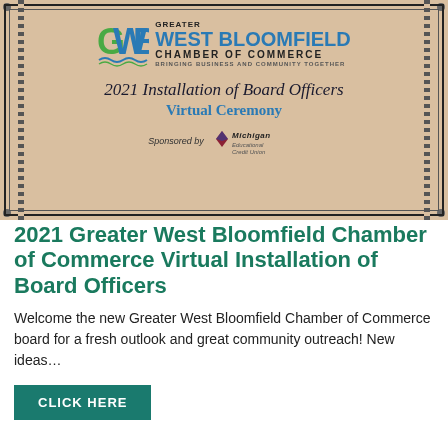[Figure (illustration): Greater West Bloomfield Chamber of Commerce certificate-style banner for '2021 Installation of Board Officers – Virtual Ceremony', sponsored by Michigan Educational Credit Union. Features the GWB logo, decorative border, and blue wavy lines.]
2021 Greater West Bloomfield Chamber of Commerce Virtual Installation of Board Officers
Welcome the new Greater West Bloomfield Chamber of Commerce board for a fresh outlook and great community outreach! New ideas…
CLICK HERE